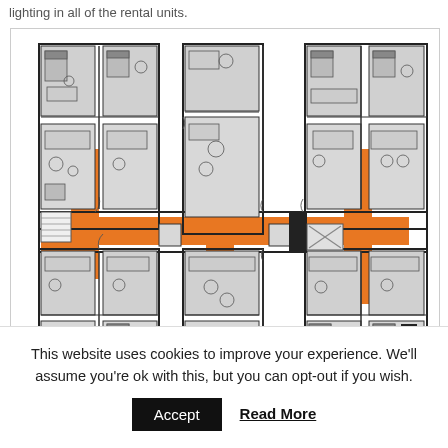lighting in all of the rental units.
[Figure (schematic): Architectural floor plan of a multi-unit residential building showing apartment layouts with furniture. Orange highlighted corridors show a cross/H-shaped hallway system connecting three vertical wings. Units contain drawn furniture including beds, kitchen appliances, and bathroom fixtures.]
This website uses cookies to improve your experience. We'll assume you're ok with this, but you can opt-out if you wish.
Accept
Read More